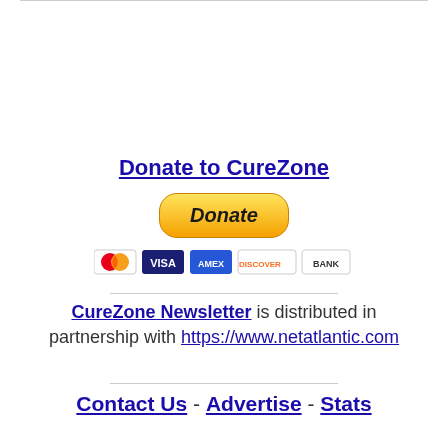Donate to CureZone
[Figure (other): PayPal Donate button with credit card icons (MasterCard, Visa, American Express, Discover, Bank)]
CureZone Newsletter is distributed in partnership with https://www.netatlantic.com
Contact Us - Advertise - Stats